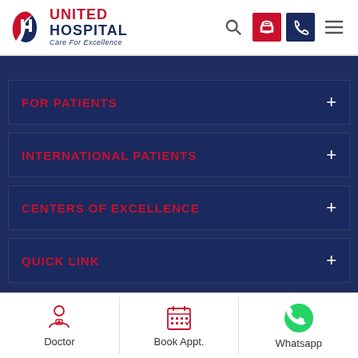[Figure (logo): United Hospital logo with red leaf/H emblem, text UNITED HOSPITAL and tagline Care For Excellence]
FOR PATIENTS
INTERNATIONAL PATIENTS
CENTERS OF EXCELLENCE
QUICK LINK
[Figure (screenshot): Bottom navigation bar with Doctor, Book Appt., and Whatsapp icons]